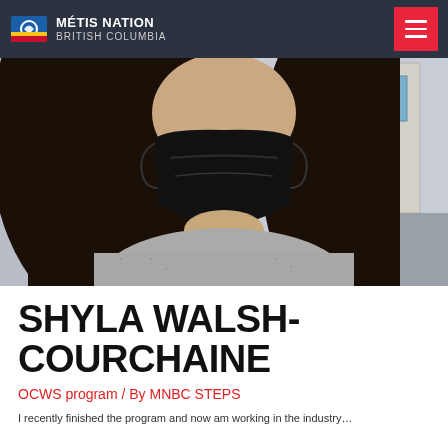MÉTIS NATION BRITISH COLUMBIA
[Figure (photo): Close-up photo of a person with long dark hair wearing a black face mask and grey sweater, with a building visible in the background]
SHYLA WALSH-COURCHAINE
OCWS program / By MNBC STEPS
Article excerpt text begins here